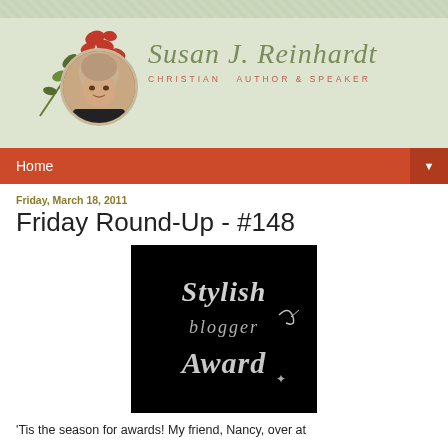[Figure (logo): Susan J. Reinhardt blog header with author portrait, floral decoration, name in script font, and tagline 'Christian Author & Speaker' on sage green background]
Home
Friday, March 18, 2011
Friday Round-Up - #148
[Figure (photo): Stylish Blogger Award badge - black background with silver script text reading 'Stylish blogger Award']
'Tis the season for awards! My friend, Nancy, over at